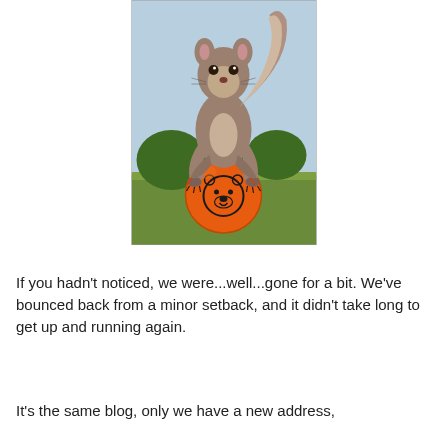[Figure (photo): A squirrel in mid-air, holding/bouncing on an orange ball with a bear face printed on it, over a grassy background.]
If you hadn't noticed, we were...well...gone for a bit. We've bounced back from a minor setback, and it didn't take long to get up and running again.
It's the same blog, only we have a new address,